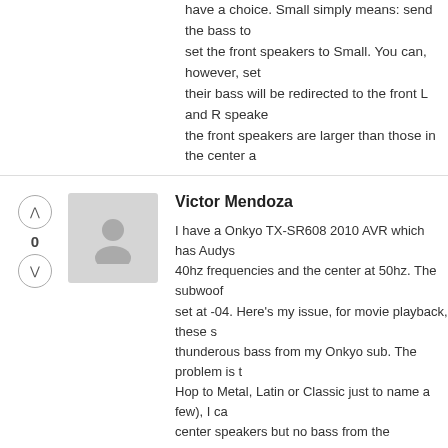have a choice. Small simply means: send the bass to set the front speakers to Small. You can, however, set their bass will be redirected to the front L and R speake the front speakers are larger than those in the center a
Victor Mendoza
[Figure (illustration): User avatar placeholder with person silhouette icon on gray background]
I have a Onkyo TX-SR608 2010 AVR which has Audys 40hz frequencies and the center at 50hz. The subwoof set at -04. Here's my issue, for movie playback, these s thunderous bass from my Onkyo sub. The problem is t Hop to Metal, Latin or Classic just to name a few), I ca center speakers but no bass from the subwoofer there to avoid overexceeding it. At this point I hear a very mi times is very distorted as if the sub was maxed out. I c minimal effect. I've also manually reduced the front an and tried incrementing treble levels also with same neg speaker level output but same results. My sub is conne